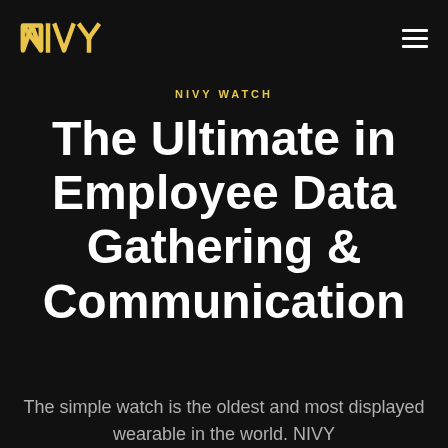[Figure (logo): NIVY logo in yellow geometric lettering on dark background]
NIVY WATCH
The Ultimate in Employee Data Gathering & Communication
The simple watch is the oldest and most displayed wearable in the world. NIVY